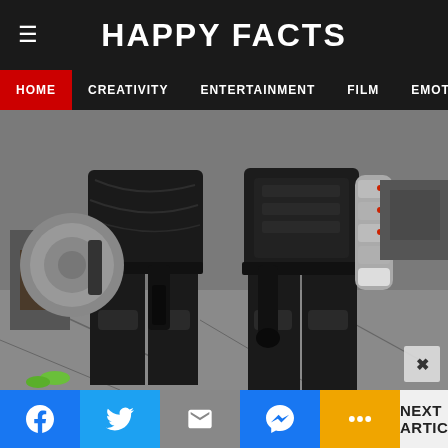HAPPY FACTS
[Figure (photo): Two people in superhero costumes (Captain America and Winter Soldier) photographed from behind on a street set, showing tactical gear, shield, and metal arm prop]
HOME | CREATIVITY | ENTERTAINMENT | FILM | EMOTION | NEXT ARTICLE